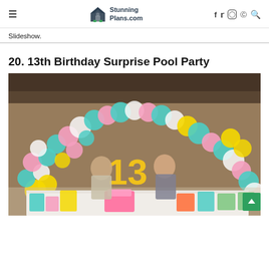StunningPlans.com
Slideshow.
20. 13th Birthday Surprise Pool Party
[Figure (photo): Two teenage girls standing behind a party table decorated with a large gold '13' foil balloon, colorful balloon arch (mint, pink, white, yellow), birthday cake, candy, and various party treats on a white-draped table.]